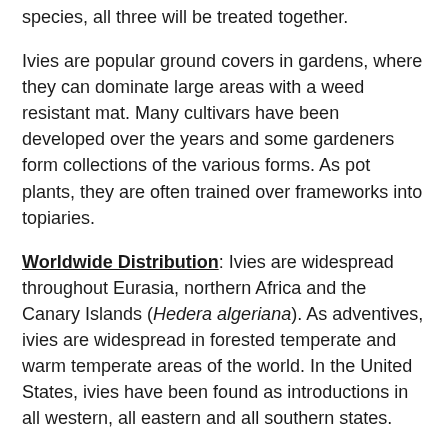species, all three will be treated together.
Ivies are popular ground covers in gardens, where they can dominate large areas with a weed resistant mat. Many cultivars have been developed over the years and some gardeners form collections of the various forms. As pot plants, they are often trained over frameworks into topiaries.
Worldwide Distribution: Ivies are widespread throughout Eurasia, northern Africa and the Canary Islands (Hedera algeriana). As adventives, ivies are widespread in forested temperate and warm temperate areas of the world. In the United States, ivies have been found as introductions in all western, all eastern and all southern states.
Official Control: Ivies are listed as official weeds in Oregon and Washington. In California, some State Parks and other land management agencies have instituted ivy control in lands under their jurisdiction.